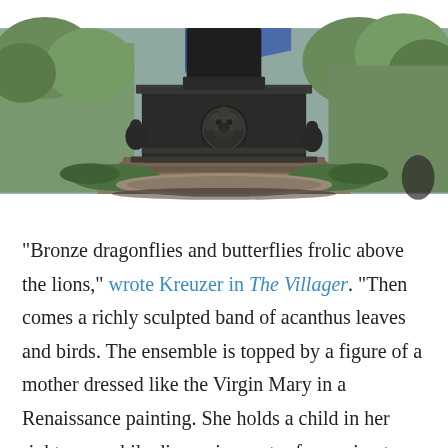[Figure (photo): Photograph of a large dark bronze statue pedestal in a park setting, with trees and greenery in the background. The pedestal features ornate sculptural details including what appears to be a lion's head medallion.]
“Bronze dragonflies and butterflies frolic above the lions,” wrote Kreuzer in The Villager. “Then comes a richly sculpted band of acanthus leaves and birds. The ensemble is topped by a figure of a mother dressed like the Virgin Mary in a Renaissance painting. She holds a child in her right arm, while dispensing water from a jug to another child who looks at her adoringly.”
Both statues are the legacies of the movement that gave